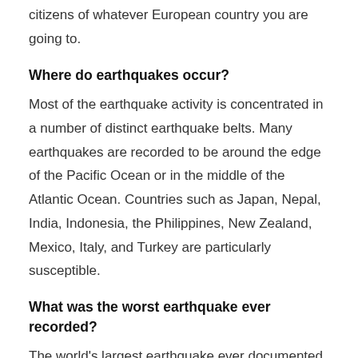citizens of whatever European country you are going to.
Where do earthquakes occur?
Most of the earthquake activity is concentrated in a number of distinct earthquake belts. Many earthquakes are recorded to be around the edge of the Pacific Ocean or in the middle of the Atlantic Ocean. Countries such as Japan, Nepal, India, Indonesia, the Philippines, New Zealand, Mexico, Italy, and Turkey are particularly susceptible.
What was the worst earthquake ever recorded?
The world's largest earthquake ever documented was on May 22 in 1969 near Valdivia in southern Chile. It was given a magnitude reading of 9.5 by the United